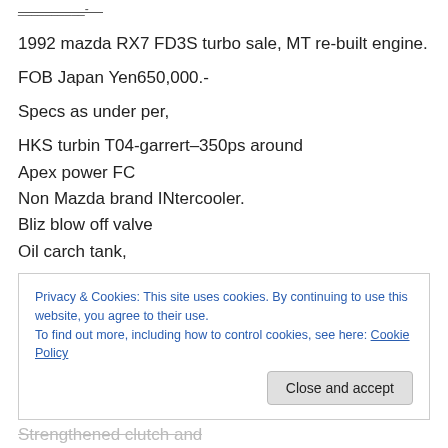1992 mazda RX7 FD3S turbo sale, MT re-built engine.
FOB Japan Yen650,000.-
Specs as under per,
HKS turbin T04-garrert–350ps around
Apex power FC
Non Mazda brand INtercooler.
Bliz blow off valve
Oil carch tank,
Privacy & Cookies: This site uses cookies. By continuing to use this website, you agree to their use.
To find out more, including how to control cookies, see here: Cookie Policy
Strengthened clutch and